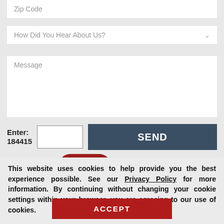Zip Code
How Did You Hear About Us?
Message
Enter: 184415
SEND
Request a Free
This website uses cookies to help provide you the best experience possible. See our Privacy Policy for more information. By continuing without changing your cookie settings within your browser, you are agreeing to our use of cookies.
ACCEPT